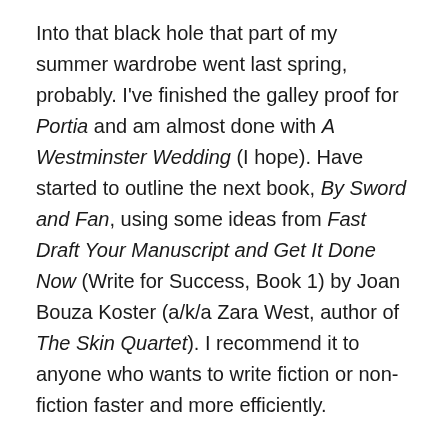Into that black hole that part of my summer wardrobe went last spring, probably. I've finished the galley proof for Portia and am almost done with A Westminster Wedding (I hope). Have started to outline the next book, By Sword and Fan, using some ideas from Fast Draft Your Manuscript and Get It Done Now (Write for Success, Book 1) by Joan Bouza Koster (a/k/a Zara West, author of The Skin Quartet). I recommend it to anyone who wants to write fiction or non-fiction faster and more efficiently.
October 9, 2020
Halfway through the second edits on Portia and the Merchant of London. My current work-in-progress, tentatively entitled A Westminster Wedding, is about 15,000 words from being done. I just decided to switch